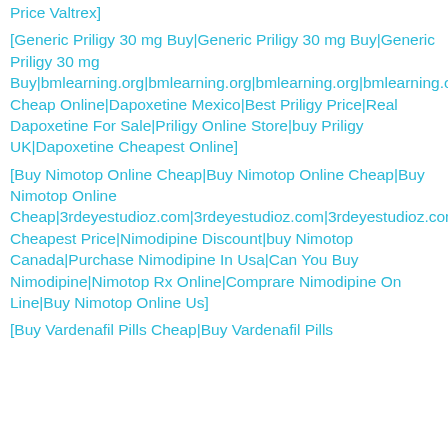Price Valtrex]
[Generic Priligy 30 mg Buy|Generic Priligy 30 mg Buy|Generic Priligy 30 mg Buy|bmlearning.org|bmlearning.org|bmlearning.org|bmlearning.org|bmlearning.org|bmlearning.org|bmlearning.org|bmlearning.org|Dapoxetine Cheap Online|Dapoxetine Mexico|Best Priligy Price|Real Dapoxetine For Sale|Priligy Online Store|buy Priligy UK|Dapoxetine Cheapest Online]
[Buy Nimotop Online Cheap|Buy Nimotop Online Cheap|Buy Nimotop Online Cheap|3rdeyestudioz.com|3rdeyestudioz.com|3rdeyestudioz.com|3rdeyestudioz.com|3rdeyestudioz.com|3rdeyestudioz.com|3rdeyestudioz.com|3rdeyestudioz.com|Nimotop Cheapest Price|Nimodipine Discount|buy Nimotop Canada|Purchase Nimodipine In Usa|Can You Buy Nimodipine|Nimotop Rx Online|Comprare Nimodipine On Line|Buy Nimotop Online Us]
[Buy Vardenafil Pills Cheap|Buy Vardenafil Pills